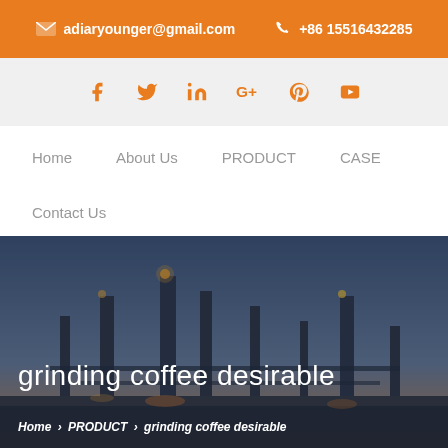adiaryounger@gmail.com   +86 15516432285
[Figure (other): Social media icons bar: Facebook, Twitter, LinkedIn, Google+, Pinterest, YouTube in orange]
Home   About Us   PRODUCT   CASE   Contact Us
[Figure (photo): Industrial plant/refinery at dusk with text overlay: 'grinding coffee desirable' and breadcrumb 'Home > PRODUCT > grinding coffee desirable']
grinding coffee desirable
Home > PRODUCT > grinding coffee desirable